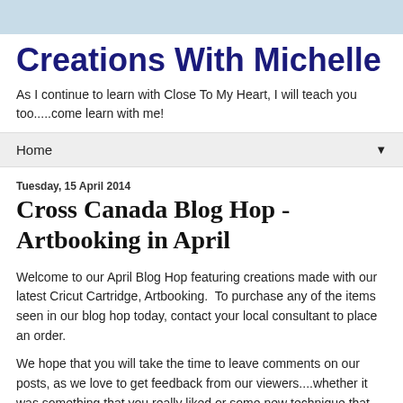Creations With Michelle
As I continue to learn with Close To My Heart, I will teach you too.....come learn with me!
Home
Tuesday, 15 April 2014
Cross Canada Blog Hop - Artbooking in April
Welcome to our April Blog Hop featuring creations made with our latest Cricut Cartridge, Artbooking.  To purchase any of the items seen in our blog hop today, contact your local consultant to place an order.
We hope that you will take the time to leave comments on our posts, as we love to get feedback from our viewers....whether it was something that you really liked or some new technique that was used